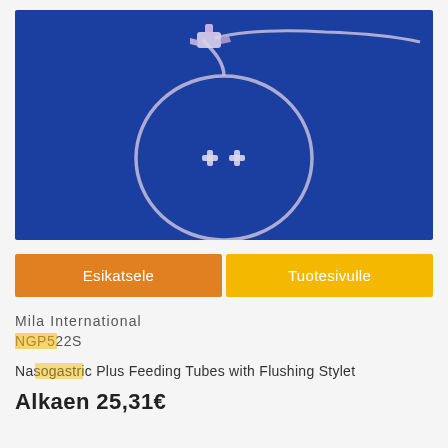[Figure (photo): Nasogastric feeding tube with flushing stylet on blue background. The tube forms a large loop and has a multi-port connector/adapter at the top with two wings/ports.]
Esikatsele
Tuotesivulle
Mila International
NGP522S
Nasogastric Plus Feeding Tubes with Flushing Stylet
Alkaen 25,31€